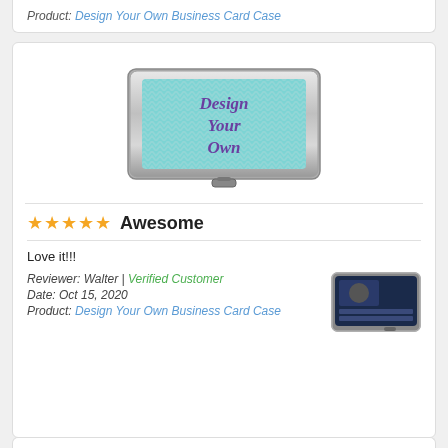Product: Design Your Own Business Card Case
[Figure (photo): Business card case with teal chevron pattern and 'Design Your Own' text in purple script]
★★★★★ Awesome
Love it!!!
Reviewer: Walter | Verified Customer
Date: Oct 15, 2020
Product: Design Your Own Business Card Case
[Figure (photo): Thumbnail of a custom business card case with dark blue design showing contact information]